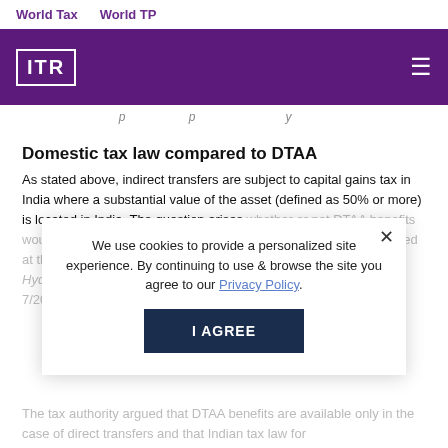World Tax    World TP
[Figure (logo): ITR logo in white on purple background with hamburger menu icon]
...partially visible italic line of text...
Domestic tax law compared to DTAA
As stated above, indirect transfers are subject to capital gains tax in India where a substantial value of the asset (defined as 50% or more) is located in India. The question arises whether or not DTAA benefits would be available on such indirect transfer. The matter was debated at the Authority for Advance Ruling (AAR) in the case of the Hyderabad International II Holding... Application Nos. AAR/4, 5 & 7/2019) (429 ITR 288) (AAR – New Delhi), which concerned a PE.
We use cookies to provide a personalized site experience. By continuing to use & browse the site you agree to our Privacy Policy.
The tax authority argued that DTAA benefits are available only in the case of direct transfers and that Indian tax law for...